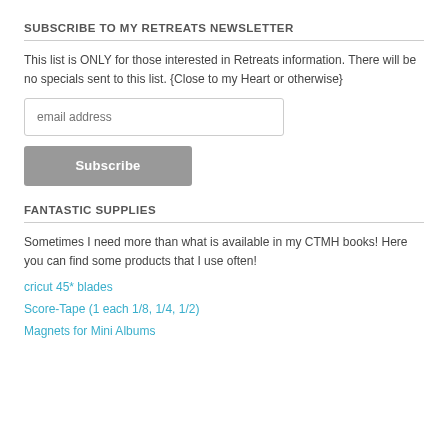SUBSCRIBE TO MY RETREATS NEWSLETTER
This list is ONLY for those interested in Retreats information. There will be no specials sent to this list. {Close to my Heart or otherwise}
email address
Subscribe
FANTASTIC SUPPLIES
Sometimes I need more than what is available in my CTMH books! Here you can find some products that I use often!
cricut 45* blades
Score-Tape (1 each 1/8, 1/4, 1/2)
Magnets for Mini Albums